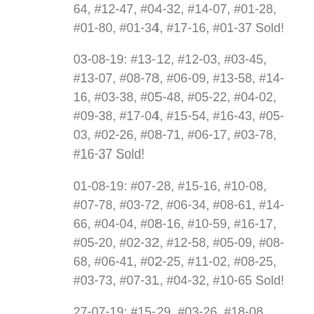64, #12-47, #04-32, #14-07, #01-28, #01-80, #01-34, #17-16, #01-37 Sold!
03-08-19: #13-12, #12-03, #03-45, #13-07, #08-78, #06-09, #13-58, #14-16, #03-38, #05-48, #05-22, #04-02, #09-38, #17-04, #15-54, #16-43, #05-03, #02-26, #08-71, #06-17, #03-78, #16-37 Sold!
01-08-19: #07-28, #15-16, #10-08, #07-78, #03-72, #06-34, #08-61, #14-66, #04-04, #08-16, #10-59, #16-17, #05-20, #02-32, #12-58, #05-09, #08-68, #06-41, #02-25, #11-02, #08-25, #03-73, #07-31, #04-32, #10-65 Sold!
27-07-19: #15-29, #03-26, #18-08, #05-02, #09-37, #13-49, #13-26, #15-38, #12-49, #09-55, #02-64, #12-37, #09-09, #11-26, #08-62, #09-26, #09-59 Sold!
25-07-19: #05-37, #07-60, #04-59, #14-46, #06-04, #12-26, #06-48, #03-32, #12-43, #13-66, #04-25, #08-